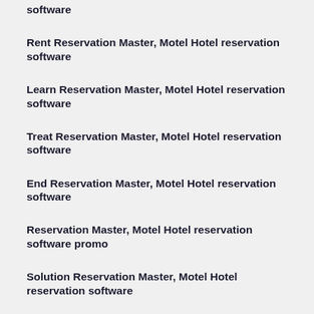software
Rent Reservation Master, Motel Hotel reservation software
Learn Reservation Master, Motel Hotel reservation software
Treat Reservation Master, Motel Hotel reservation software
End Reservation Master, Motel Hotel reservation software
Reservation Master, Motel Hotel reservation software promo
Solution Reservation Master, Motel Hotel reservation software